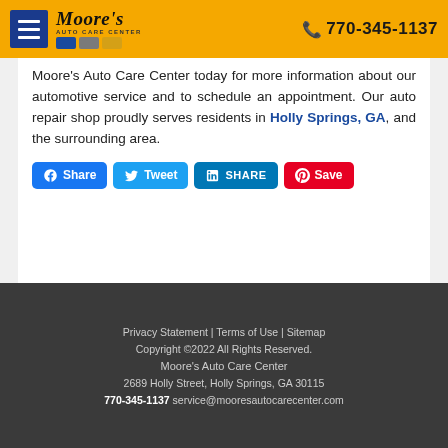Moore's Auto Care Center | 770-345-1137
Moore's Auto Care Center today for more information about our automotive service and to schedule an appointment. Our auto repair shop proudly serves residents in Holly Springs, GA, and the surrounding area.
[Figure (infographic): Social sharing buttons: Facebook Share, Twitter Tweet, LinkedIn SHARE, Pinterest Save]
Privacy Statement | Terms of Use | Sitemap
Copyright © 2022 All Rights Reserved.
Moore's Auto Care Center
2689 Holly Street, Holly Springs, GA 30115
770-345-1137 service@mooresautocarecenter.com